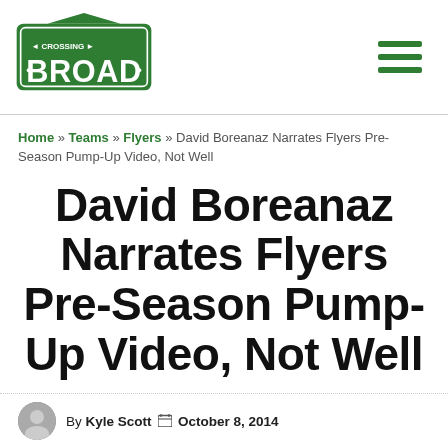[Figure (logo): Crossing Broad logo — green street-sign style badge with 'CROSSING BROAD' text in white]
Home » Teams » Flyers » David Boreanaz Narrates Flyers Pre-Season Pump-Up Video, Not Well
David Boreanaz Narrates Flyers Pre-Season Pump-Up Video, Not Well
By Kyle Scott  October 8, 2014